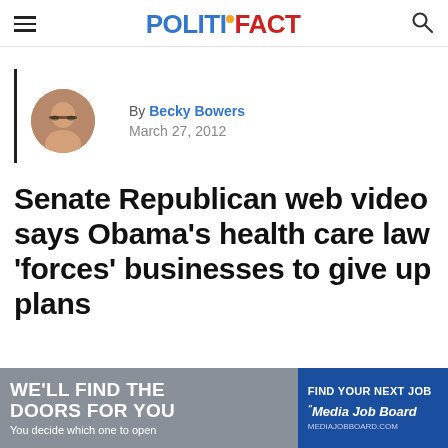POLITIFACT
By Becky Bowers
March 27, 2012
Senate Republican web video says Obama's health care law 'forces' businesses to give up plans
[Figure (other): Advertisement banner: 'WE'LL FIND THE DOORS FOR YOU – You decide which one to open' and 'Find your next job – Media Job Board']